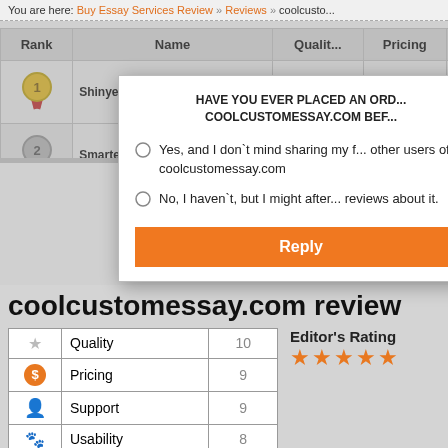You are here: Buy Essay Services Review » Reviews » coolcusto...
| Rank | Name | Quality | Pricing | Sup... |
| --- | --- | --- | --- | --- |
| 1 | Shinyessays.com |  |  |  |
| 2 | Smartessaywritingserv... |  |  |  |
| 3 | coolcustomessay.c... |  |  |  |
| 4 | Customcollegeessay... |  |  |  |
| 5 | Classyessaywriter... |  |  |  |
[Figure (screenshot): Modal dialog asking 'HAVE YOU EVER PLACED AN ORDER ON COOLCUSTOMESSAY.COM BE...' with two radio options and a Reply button]
coolcustomessay.com review
|  | Category | Score |
| --- | --- | --- |
| ★ | Quality | 10 |
| $ | Pricing | 9 |
| 👤 | Support | 9 |
| 🐾 | Usability | 8 |
| ● | Speed | 10 |
Editor's Rating ★★★★★